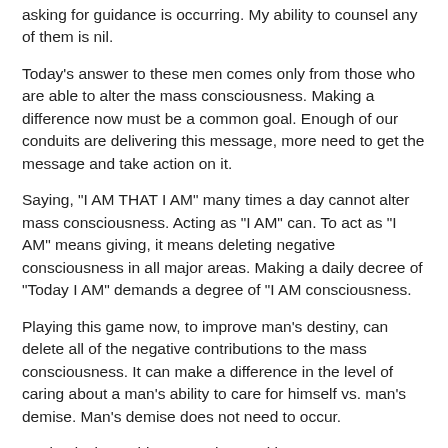asking for guidance is occurring. My ability to counsel any of them is nil.
Today's answer to these men comes only from those who are able to alter the mass consciousness. Making a difference now must be a common goal. Enough of our conduits are delivering this message, more need to get the message and take action on it.
Saying, "I AM THAT I AM" many times a day cannot alter mass consciousness. Acting as "I AM" can. To act as "I AM" means giving, it means deleting negative consciousness in all major areas. Making a daily decree of "Today I AM" demands a degree of "I AM consciousness.
Playing this game now, to improve man's destiny, can delete all of the negative contributions to the mass consciousness. It can make a difference in the level of caring about a man's ability to care for himself vs. man's demise. Man's demise does not need to occur.
Banks desire nothing more than making money at any cost